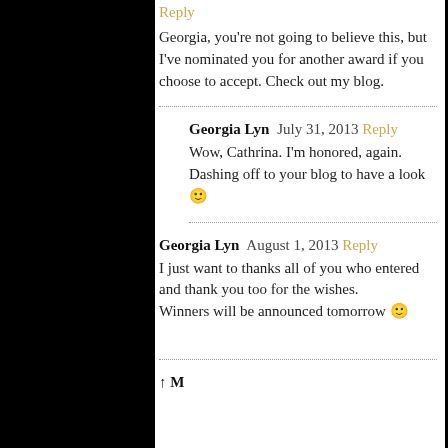Reply
Georgia, you're not going to believe this, but I've nominated you for another award if you choose to accept. Check out my blog.
Georgia Lyn  July 31, 2013  Reply
Wow, Cathrina. I'm honored, again. Dashing off to your blog to have a look 🙂
Georgia Lyn  August 1, 2013  Reply
I just want to thanks all of you who entered and thank you too for the wishes.
Winners will be announced tomorrow 🙂
↑ M…